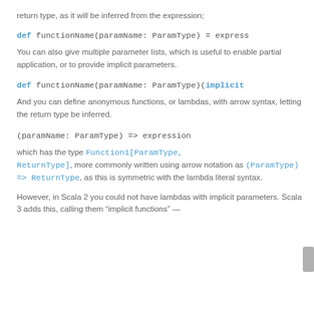return type, as it will be inferred from the expression;
def functionName(paramName: ParamType) = express
You can also give multiple parameter lists, which is useful to enable partial application, or to provide implicit parameters.
def functionName(paramName: ParamType)(implicit
And you can define anonymous functions, or lambdas, with arrow syntax, letting the return type be inferred.
(paramName: ParamType) => expression
which has the type Function1[ParamType, ReturnType], more commonly written using arrow notation as (ParamType) => ReturnType, as this is symmetric with the lambda literal syntax.
However, in Scala 2 you could not have lambdas with implicit parameters. Scala 3 adds this, calling them “implicit functions” —